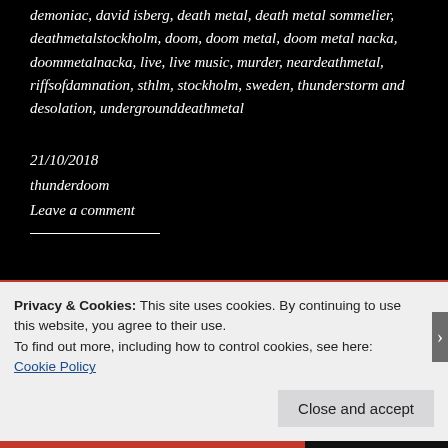demoniac, david isberg, death metal, death metal sommelier, deathmetalstockholm, doom, doom metal, doom metal nacka, doommetalnacka, live, live music, murder, neardeathmetal, riffsofdamnation, sthlm, stockholm, sweden, thunderstorm and desolation, undergrounddeathmetal
21/10/2018
thunderdoom
Leave a comment
Privacy & Cookies: This site uses cookies. By continuing to use this website, you agree to their use.
To find out more, including how to control cookies, see here: Cookie Policy
Close and accept